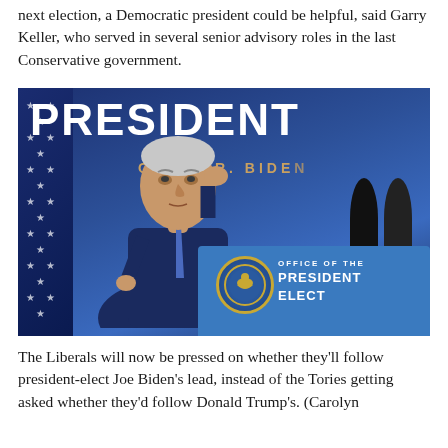next election, a Democratic president could be helpful, said Garry Keller, who served in several senior advisory roles in the last Conservative government.
[Figure (photo): Photo of Joe Biden standing at a lectern with 'PRESIDENT' banner in large white letters behind him and 'JOSEPH R. BIDEN' subtitle. Biden is in a dark suit, touching his ear. A blue podium reads 'OFFICE OF THE PRESIDENT ELECT' with a seal. American flag visible on left.]
The Liberals will now be pressed on whether they'll follow president-elect Joe Biden's lead, instead of the Tories getting asked whether they'd follow Donald Trump's. (Carolyn